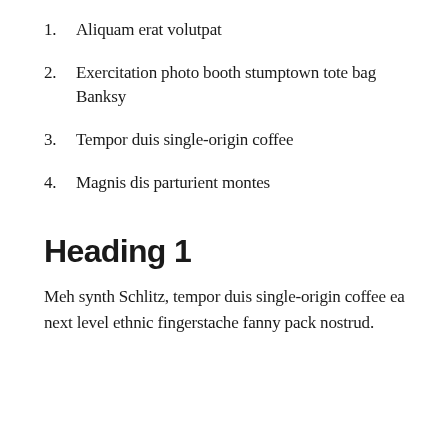1. Aliquam erat volutpat
2. Exercitation photo booth stumptown tote bag Banksy
3. Tempor duis single-origin coffee
4. Magnis dis parturient montes
Heading 1
Meh synth Schlitz, tempor duis single-origin coffee ea next level ethnic fingerstache fanny pack nostrud.